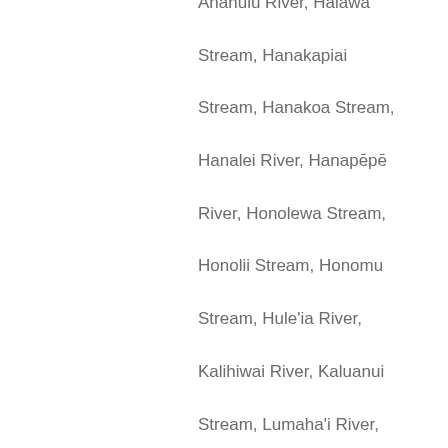Anahulu River, Halawa Stream, Hanakapiai Stream, Hanakoa Stream, Hanalei River, Hanapēpē River, Honolewa Stream, Honolii Stream, Honomu Stream, Hule'ia River, Kalihiwai River, Kaluanui Stream, Lumaha'i River, Waihee River, Wailau River, Wailua River, Wailuku River, Waimea River, Waimea